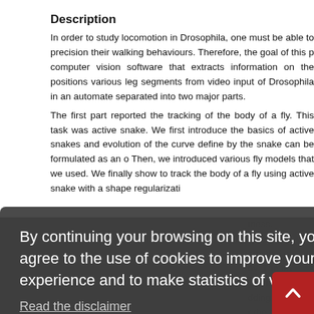Description
In order to study locomotion in Drosophila, one must be able to precision their walking behaviours. Therefore, the goal of this project is computer vision software that extracts information on the positions of various leg segments from video input of Drosophila in an automated way, separated into two major parts.
The first part reported the tracking of the body of a fly. This task was active snake. We first introduce the basics of active snakes and evolution of the curve define by the snake can be formulated as an o Then, we introduced various fly models that we used. We finally show to track the body of a fly using active snake with a shape regularizati tness. ization pro egs that ca dy. The tra y term bas dding two g r the tracki
[Figure (screenshot): Cookie consent overlay with dark semi-transparent background, text reading 'By continuing your browsing on this site, you agree to the use of cookies to improve your user experience and to make statistics of visits.' with a 'Read the disclaimer' link and a red 'OK' button.]
[Figure (other): Red back-to-top button with upward-pointing chevron arrow in bottom-right corner.]